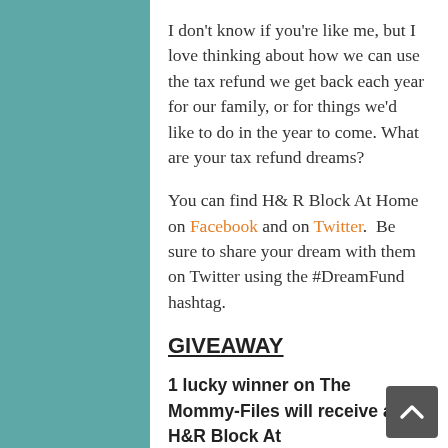I don't know if you're like me, but I love thinking about how we can use the tax refund we get back each year for our family, or for things we'd like to do in the year to come. What are your tax refund dreams?
You can find H& R Block At Home on Facebook and on Twitter.  Be sure to share your dream with them on Twitter using the #DreamFund hashtag.
GIVEAWAY
1 lucky winner on The Mommy-Files will receive an H&R Block At